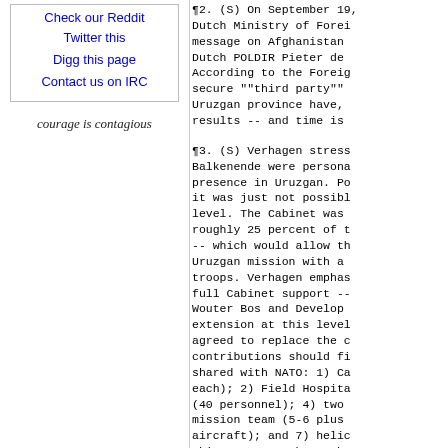Check our Reddit
Twitter this
Digg this page
Contact us on IRC
courage is contagious
¶2. (S) On September 19, Dutch Ministry of Foreign message on Afghanistan, Dutch POLDIR Pieter de According to the Foreign secure ""third party"" Uruzgan province have, results -- and time is
¶3. (S) Verhagen stress Balkenende were persona presence in Uruzgan. Po it was just not possibl level. The Cabinet was roughly 25 percent of t -- which would allow th Uruzgan mission with a troops. Verhagen emphas full Cabinet support -- Wouter Bos and Develop extension at this leve agreed to replace the c contributions should fi shared with NATO: 1) Ca each); 2) Field Hospita (40 personnel); 4) two mission team (5-6 plus aircraft); and 7) helic this an RC-South, rathe